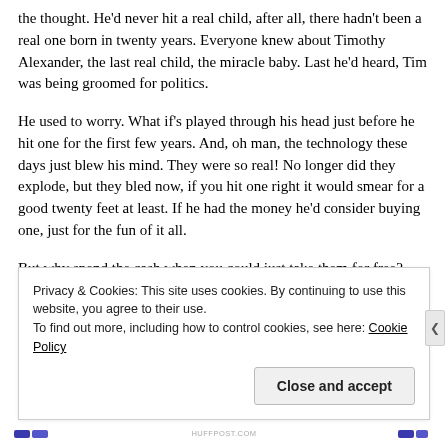the thought. He'd never hit a real child, after all, there hadn't been a real one born in twenty years. Everyone knew about Timothy Alexander, the last real child, the miracle baby. Last he'd heard, Tim was being groomed for politics.
He used to worry. What if's played through his head just before he hit one for the first few years. And, oh man, the technology these days just blew his mind. They were so real! No longer did they explode, but they bled now, if you hit one right it would smear for a good twenty feet at least. If he had the money he'd consider buying one, just for the fun of it all.
But why spend the cash when you could just take them for free?
Privacy & Cookies: This site uses cookies. By continuing to use this website, you agree to their use.
To find out more, including how to control cookies, see here: Cookie Policy